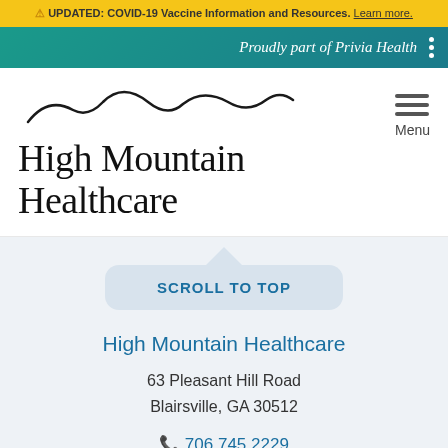⚠ UPDATED: COVID-19 Vaccine Information and Resources. Learn more.
Proudly part of Privia Health
[Figure (logo): High Mountain Healthcare logo with mountain wave SVG illustration above the text 'High Mountain Healthcare']
SCROLL TO TOP
High Mountain Healthcare
63 Pleasant Hill Road
Blairsville, GA 30512
📞 706.745.2229
🖨 706.745.0836